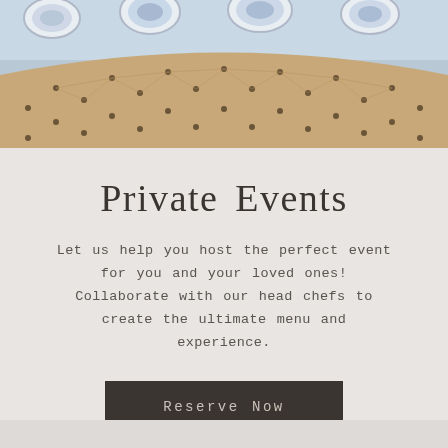[Figure (photo): Tufted upholstered sofa back in champagne/gold fabric with decorative plates on light blue wall above]
Private Events
Let us help you host the perfect event for you and your loved ones! Collaborate with our head chefs to create the ultimate menu and experience.
Reserve Now